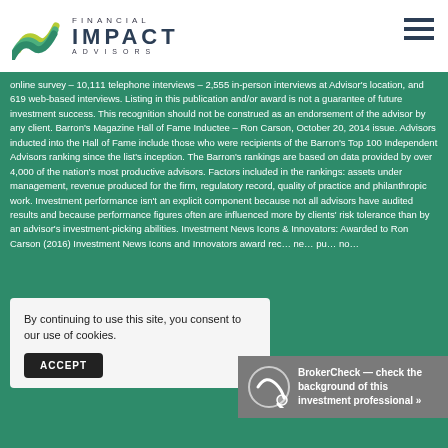Financial Impact Advisors
online survey – 10,111 telephone interviews – 2,555 in-person interviews at Advisor's location, and 619 web-based interviews. Listing in this publication and/or award is not a guarantee of future investment success. This recognition should not be construed as an endorsement of the advisor by any client. Barron's Magazine Hall of Fame Inductee – Ron Carson, October 20, 2014 issue. Advisors inducted into the Hall of Fame include those who were recipients of the Barron's Top 100 Independent Advisors ranking since the list's inception. The Barron's rankings are based on data provided by over 4,000 of the nation's most productive advisors. Factors included in the rankings: assets under management, revenue produced for the firm, regulatory record, quality of practice and philanthropic work. Investment performance isn't an explicit component because not all advisors have audited results and because performance figures often are influenced more by clients' risk tolerance than by an advisor's investment-picking abilities. Investment News Icons & Innovators: Awarded to Ron Carson (2016) Investment News Icons and Innovators award rec... ne... pu... no...
By continuing to use this site, you consent to our use of cookies.
ACCEPT
BrokerCheck — check the background of this investment professional >>